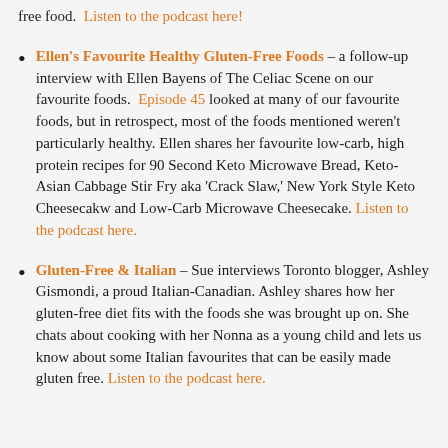free food.  Listen to the podcast here!
Ellen's Favourite Healthy Gluten-Free Foods – a follow-up interview with Ellen Bayens of The Celiac Scene on our favourite foods.  Episode 45 looked at many of our favourite foods, but in retrospect, most of the foods mentioned weren't particularly healthy. Ellen shares her favourite low-carb, high protein recipes for 90 Second Keto Microwave Bread, Keto-Asian Cabbage Stir Fry aka 'Crack Slaw,' New York Style Keto Cheesecakw and Low-Carb Microwave Cheesecake. Listen to the podcast here.
Gluten-Free & Italian – Sue interviews Toronto blogger, Ashley Gismondi, a proud Italian-Canadian. Ashley shares how her gluten-free diet fits with the foods she was brought up on. She chats about cooking with her Nonna as a young child and lets us know about some Italian favourites that can be easily made gluten free. Listen to the podcast here.